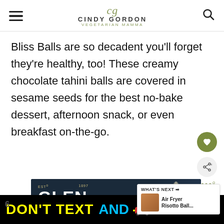Cindy Gordon — Vegetarian Mamma
Bliss Balls are so decadent you'll forget they're healthy, too! These creamy chocolate tahini balls are covered in sesame seeds for the best no-bake dessert, afternoon snack, or even breakfast on-the-go.
[Figure (photo): Glen Moray Speyside Cask Explorer advertisement showing bottle and text]
[Figure (photo): NHTSA Don't Text And Drive advertisement banner]